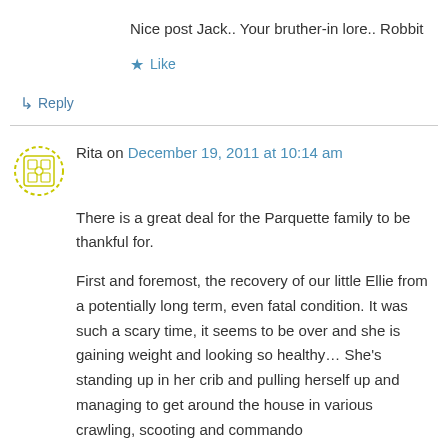Nice post Jack.. Your bruther-in lore.. Robbit
★ Like
↳ Reply
Rita on December 19, 2011 at 10:14 am
There is a great deal for the Parquette family to be thankful for.
First and foremost, the recovery of our little Ellie from a potentially long term, even fatal condition. It was such a scary time, it seems to be over and she is gaining weight and looking so healthy… She's standing up in her crib and pulling herself up and managing to get around the house in various crawling, scooting and commando